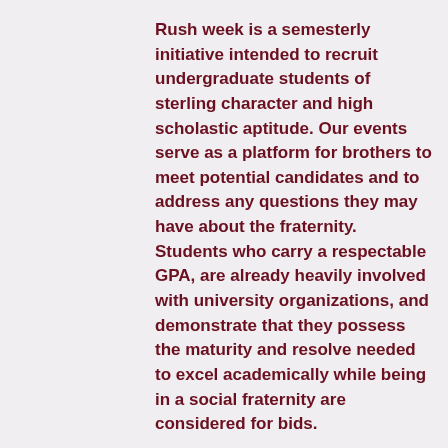Rush week is a semesterly initiative intended to recruit undergraduate students of sterling character and high scholastic aptitude. Our events serve as a platform for brothers to meet potential candidates and to address any questions they may have about the fraternity. Students who carry a respectable GPA, are already heavily involved with university organizations, and demonstrate that they possess the maturity and resolve needed to excel academically while being in a social fraternity are considered for bids.
At Lambda Chi Alpha, we believe the college experience includes balancing academic and extracurricular activities with an active social life. While the fraternity offers a multitude of